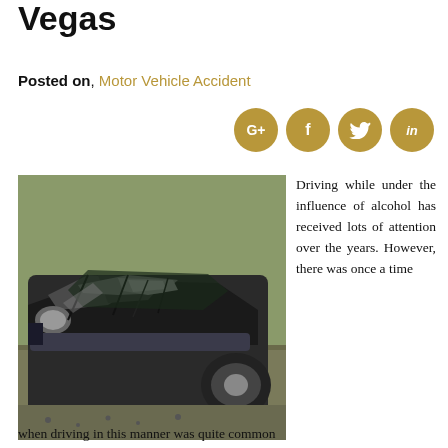Vegas
Posted on, Motor Vehicle Accident
[Figure (other): Four social media sharing icons (Google+, Facebook, Twitter, LinkedIn) as tan/gold circular buttons]
[Figure (photo): A severely damaged wrecked car with crushed hood and front end, lying on ground, motor vehicle accident photo]
Driving while under the influence of alcohol has received lots of attention over the years. However, there was once a time when driving in this manner was quite common
when driving in this manner was quite common